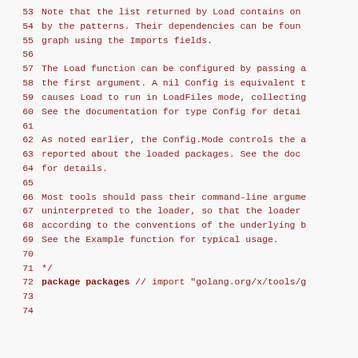53  Note that the list returned by Load contains on
54  by the patterns. Their dependencies can be foun
55  graph using the Imports fields.
56
57  The Load function can be configured by passing a
58  the first argument. A nil Config is equivalent t
59  causes Load to run in LoadFiles mode, collecting
60  See the documentation for type Config for detai
61
62  As noted earlier, the Config.Mode controls the a
63  reported about the loaded packages. See the doc
64  for details.
65
66  Most tools should pass their command-line argume
67  uninterpreted to the loader, so that the loader
68  according to the conventions of the underlying b
69  See the Example function for typical usage.
70
71  */
72  package packages // import "golang.org/x/tools/g
73
74